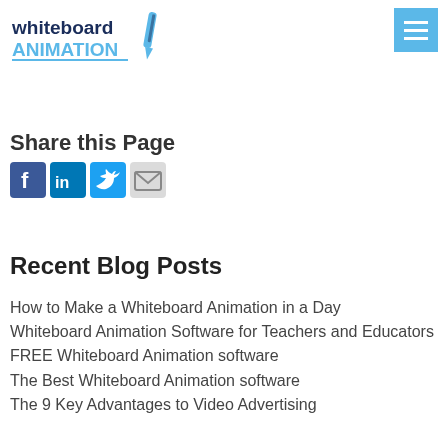[Figure (logo): Whiteboard Animation logo with pen icon, dark navy text 'whiteboard' and blue text 'ANIMATION']
[Figure (illustration): Light blue hamburger menu icon (three horizontal white lines on blue background)]
Share this Page
[Figure (infographic): Social share icons: Facebook (blue f), LinkedIn (blue in), Twitter (blue bird), Email (envelope)]
Recent Blog Posts
How to Make a Whiteboard Animation in a Day
Whiteboard Animation Software for Teachers and Educators
FREE Whiteboard Animation software
The Best Whiteboard Animation software
The 9 Key Advantages to Video Advertising